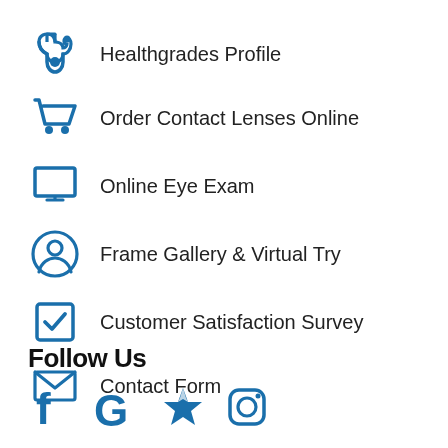Healthgrades Profile
Order Contact Lenses Online
Online Eye Exam
Frame Gallery & Virtual Try
Customer Satisfaction Survey
Contact Form
Follow Us
[Figure (infographic): Social media icons: Facebook, Google, Yelp, Instagram]